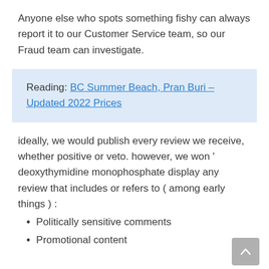Anyone else who spots something fishy can always report it to our Customer Service team, so our Fraud team can investigate.
Reading: BC Summer Beach, Pran Buri – Updated 2022 Prices
ideally, we would publish every review we receive, whether positive or veto. however, we won ' deoxythymidine monophosphate display any review that includes or refers to ( among early things ) :
Politically sensitive comments
Promotional content